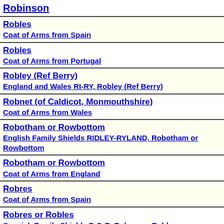Robinson
Robles
Coat of Arms from Spain
Robles
Coat of Arms from Portugal
Robley (Ref Berry)
England and Wales RI-RY, Robley (Ref Berry)
Robnet (of Caldicot, Monmouthshire)
Coat of Arms from Wales
Robotham or Rowbottom
English Family Shields RIDLEY-RYLAND, Robotham or Rowbottom
Robotham or Rowbottom
Coat of Arms from England
Robres
Coat of Arms from Spain
Robres or Robles
Spanish Family Shields P-Q-R, Robres or Robles